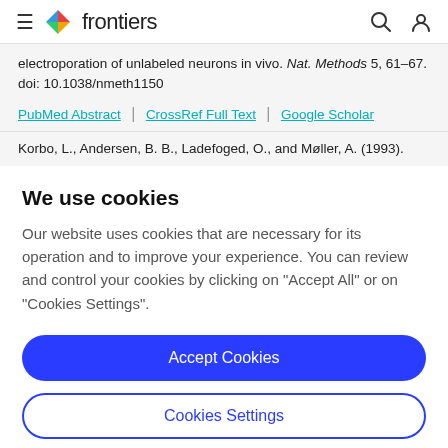frontiers
electroporation of unlabeled neurons in vivo. Nat. Methods 5, 61–67. doi: 10.1038/nmeth1150
PubMed Abstract | CrossRef Full Text | Google Scholar
Korbo, L., Andersen, B. B., Ladefoged, O., and Møller, A. (1993).
We use cookies
Our website uses cookies that are necessary for its operation and to improve your experience. You can review and control your cookies by clicking on "Accept All" or on "Cookies Settings".
Accept Cookies
Cookies Settings